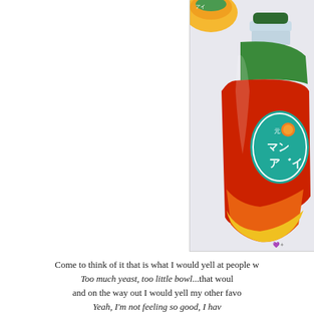[Figure (illustration): Colored illustration/drawing of a Japanese mango drink bottle with red, orange, yellow and green colors, with Japanese text (katakana) on the label reading マン and ア. There is also a smaller round container visible in the top portion. The bottle has a green cap and a teal/green oval label area.]
Come to think of it that is what I would yell at people w Too much yeast, too little bowl...that woul and on the way out I would yell my other favo Yeah, I'm not feeling so good, I hav I really need to think seriously about buying It may just be my callin